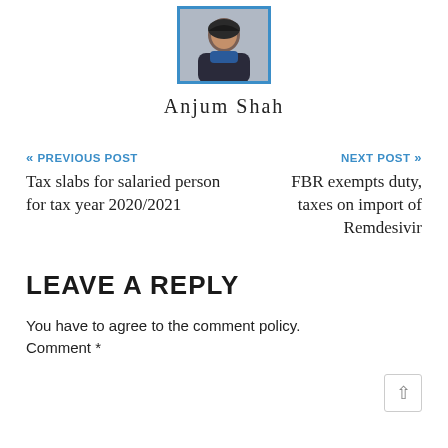[Figure (photo): Author profile photo of Anjum Shah in a blue bordered frame]
Anjum Shah
« PREVIOUS POST
Tax slabs for salaried person for tax year 2020/2021
NEXT POST »
FBR exempts duty, taxes on import of Remdesivir
LEAVE A REPLY
You have to agree to the comment policy.
Comment *